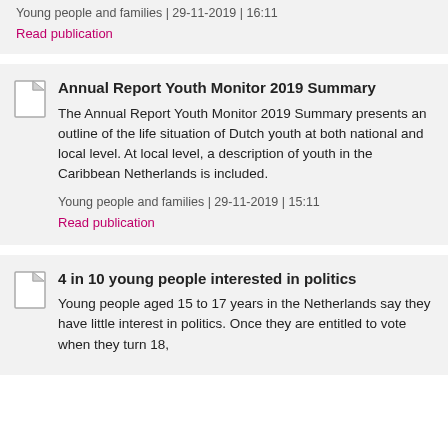Young people and families | 29-11-2019 | 16:11
Read publication
Annual Report Youth Monitor 2019 Summary
The Annual Report Youth Monitor 2019 Summary presents an outline of the life situation of Dutch youth at both national and local level. At local level, a description of youth in the Caribbean Netherlands is included.
Young people and families | 29-11-2019 | 15:11
Read publication
4 in 10 young people interested in politics
Young people aged 15 to 17 years in the Netherlands say they have little interest in politics. Once they are entitled to vote when they turn 18,